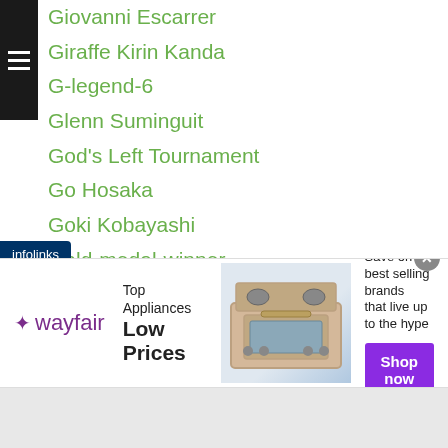Giovanni Escarrer
Giraffe Kirin Kanda
G-legend-6
Glenn Suminguit
God's Left Tournament
Go Hosaka
Goki Kobayashi
Gold-medal-winner
Go Mifune
Gonte Lee
Go Odaira
Go Onaga
Gosuke Seki
Green Tsuda
Gretchen Abaniel
Grigory-drozd
…no Jones
[Figure (infographic): Wayfair advertisement banner: Top Appliances Low Prices with stove image and Shop now button]
infolinks